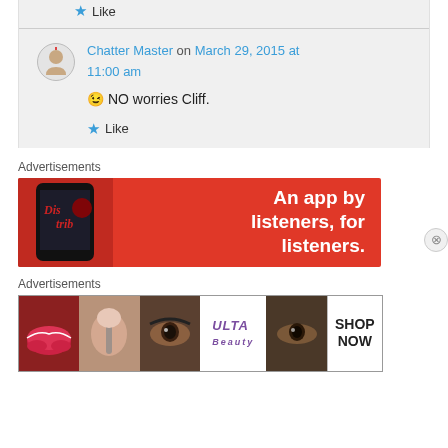Like
Chatter Master on March 29, 2015 at 11:00 am
😉 NO worries Cliff.
Like
Advertisements
[Figure (photo): Red advertisement banner for an app with text 'An app by listeners, for listeners.' and a phone image showing 'Distrib' app]
Advertisements
[Figure (photo): Ulta Beauty advertisement showing makeup images, ULTA logo, and SHOP NOW text]